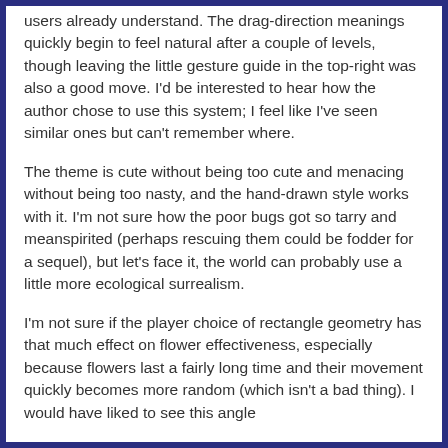users already understand. The drag-direction meanings quickly begin to feel natural after a couple of levels, though leaving the little gesture guide in the top-right was also a good move. I'd be interested to hear how the author chose to use this system; I feel like I've seen similar ones but can't remember where.
The theme is cute without being too cute and menacing without being too nasty, and the hand-drawn style works with it. I'm not sure how the poor bugs got so tarry and meanspirited (perhaps rescuing them could be fodder for a sequel), but let's face it, the world can probably use a little more ecological surrealism.
I'm not sure if the player choice of rectangle geometry has that much effect on flower effectiveness, especially because flowers last a fairly long time and their movement quickly becomes more random (which isn't a bad thing). I would have liked to see this angle